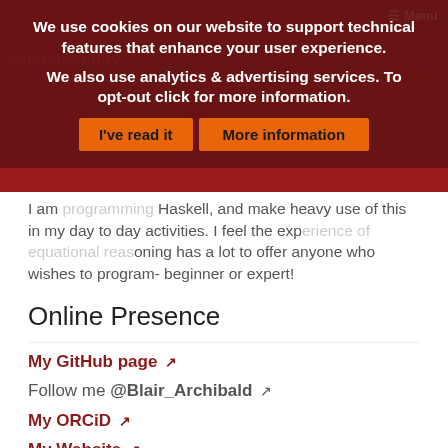We use cookies on our website to support technical features that enhance your user experience. We also use analytics & advertising services. To opt-out click for more information.
I've read it | More information
I am ... programming ... Haskell, and make heavy use of this in my day to day activities. I feel the exp... reasoning has a lot to offer anyone who wishes to program- beginner or expert!
Online Presence
My GitHub page ↗
Follow me @Blair_Archibald ↗
My ORCiD ↗
My Website ↗
Check out contributions by and mentions of Blair